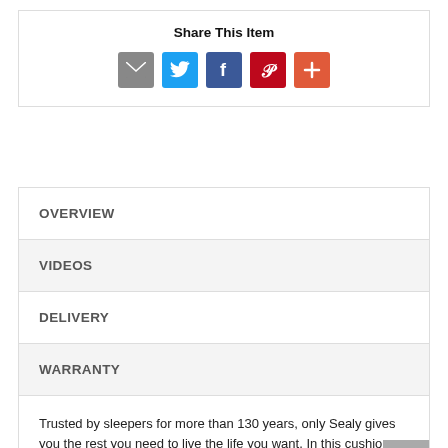Share This Item
[Figure (infographic): Social sharing icons: email (gray), Twitter (blue), Facebook (dark blue), Pinterest (red), and a plus/more button (orange-red)]
OVERVIEW
VIDEOS
DELIVERY
WARRANTY
Trusted by sleepers for more than 130 years, only Sealy gives you the rest you need to live the life you want. In this cushion firm Sealy mattress, the